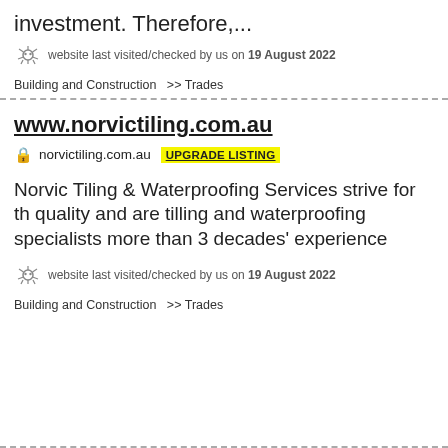investment. Therefore,...
website last visited/checked by us on 19 August 2022
Building and Construction  >> Trades
www.norvictiling.com.au
norvictiling.com.au  UPGRADE LISTING
Norvic Tiling & Waterproofing Services strive for the quality and are tilling and waterproofing specialists more than 3 decades' experience
website last visited/checked by us on 19 August 2022
Building and Construction  >> Trades